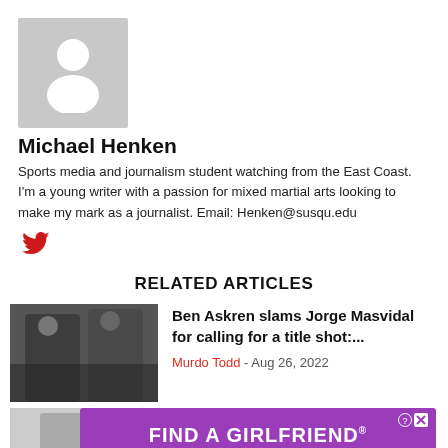[Figure (photo): Gray placeholder avatar silhouette on light gray background]
Michael Henken
Sports media and journalism student watching from the East Coast. I'm a young writer with a passion for mixed martial arts looking to make my mark as a journalist. Email: Henken@susqu.edu
[Figure (logo): Twitter bird icon in red]
RELATED ARTICLES
[Figure (photo): Two MMA fighters at event, Jorge Masvidal and Ben Askren]
Ben Askren slams Jorge Masvidal for calling for a title shot:...
Murdo Todd - Aug 26, 2022
[Figure (other): Partial thumbnail of second related article]
[Figure (other): Ad banner: FIND A GIRLFRIEND, Clover app advertisement]